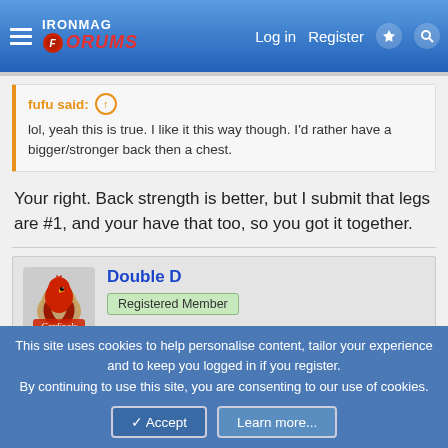IronMag Forums — Log in  Register
fufu said:
lol, yeah this is true. I like it this way though. I'd rather have a bigger/stronger back then a chest.
Your right. Back strength is better, but I submit that legs are #1, and your have that too, so you got it together.
Double D
Registered Member
Sep 9, 2006
#1,157
This site uses cookies to help personalise content, tailor your experience and to keep you logged in if you register.
By continuing to use this site, you are consenting to our use of cookies.
Accept  Learn more...